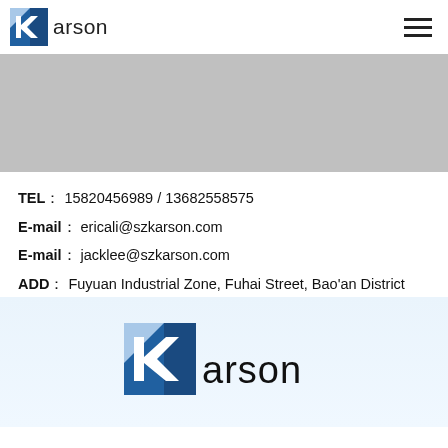Karson logo and navigation
[Figure (photo): Gray banner image placeholder]
TEL： 15820456989 / 13682558575
E-mail： ericali@szkarson.com
E-mail： jacklee@szkarson.com
ADD： Fuyuan Industrial Zone, Fuhai Street, Bao'an District
[Figure (logo): Karson logo (large) at bottom of page]